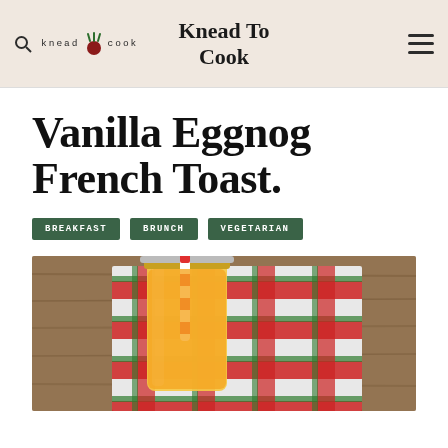Knead To Cook
Vanilla Eggnog French Toast.
BREAKFAST
BRUNCH
VEGETARIAN
[Figure (photo): A mason jar filled with orange juice with a red and white striped paper straw, sitting on a red and green plaid Christmas cloth on a wooden surface.]